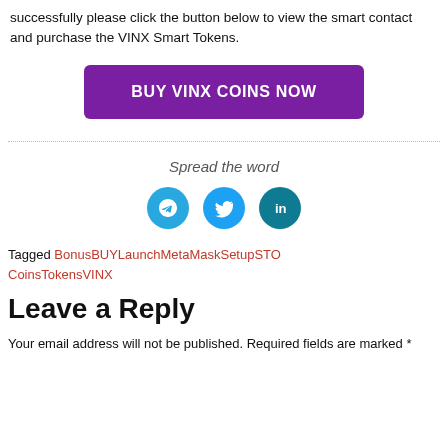successfully please click the button below to view the smart contact and purchase the VINX Smart Tokens.
[Figure (other): Purple button labeled BUY VINX COINS NOW]
Spread the word
[Figure (other): Social sharing icons: Telegram, Twitter, LinkedIn]
Tagged BonusBUYLaunchMetaMaskSetupSTO CoinsTokensVINX
Leave a Reply
Your email address will not be published. Required fields are marked *